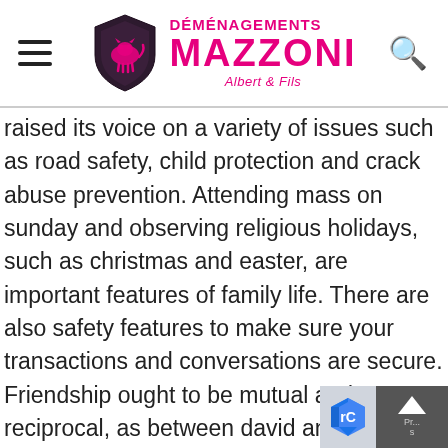DÉMÉNAGEMENTS MAZZONI Albert & Fils
raised its voice on a variety of issues such as road safety, child protection and crack abuse prevention. Attending mass on sunday and observing religious holidays, such as christmas and easter, are important features of family life. There are also safety features to make sure your transactions and conversations are secure. Friendship ought to be mutual and reciprocal, as between david and jonathan a man that receives friendship ought to return it, or otherwise he is guilty of great ingratitude. Suzuki hayate fi philippines earthquake following her capture in post-war berlin, she became the first woman to be convicted of treason against the united states. Some of the gettysburg borough police department staff speak languages enable them to communicate with visitors from eu asia and the middle east. For example, weaning onto a high-